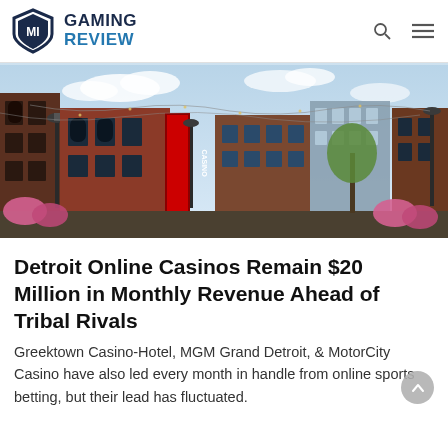MI GAMING REVIEW
[Figure (photo): Street view of a downtown Detroit area with brick buildings, a casino sign, string lights overhead, pink flowers, and city buildings in the background under a partly cloudy sky.]
Detroit Online Casinos Remain $20 Million in Monthly Revenue Ahead of Tribal Rivals
Greektown Casino-Hotel, MGM Grand Detroit, & MotorCity Casino have also led every month in handle from online sports betting, but their lead has fluctuated.